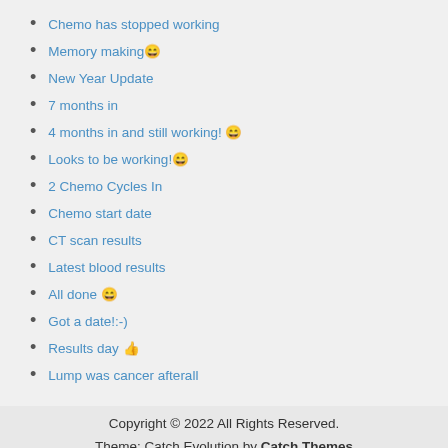Chemo has stopped working
Memory making 😀
New Year Update
7 months in
4 months in and still working! 😀
Looks to be working!😀
2 Chemo Cycles In
Chemo start date
CT scan results
Latest blood results
All done 😀
Got a date!:-)
Results day 👍
Lump was cancer afterall
Copyright © 2022 All Rights Reserved.
Theme: Catch Evolution by Catch Themes